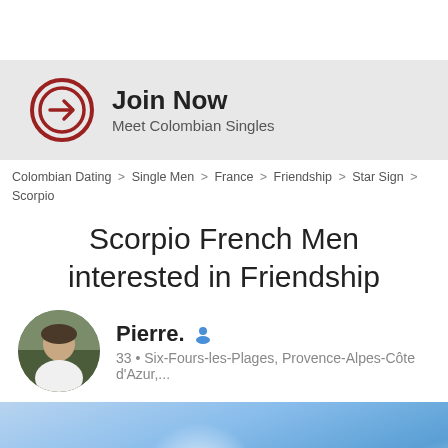[Figure (infographic): Dark red circle with right-arrow icon, used as a Join Now call-to-action button graphic]
Join Now
Meet Colombian Singles
Colombian Dating > Single Men > France > Friendship > Star Sign > Scorpio
Scorpio French Men interested in Friendship
[Figure (photo): Circular profile photo of Pierre, a man in a white shirt against an outdoor background]
Pierre.
33 • Six-Fours-les-Plages, Provence-Alpes-Côte d'Azur,...
[Figure (photo): Background photo showing a bright blue sky with sun glare and some green ground at the bottom]